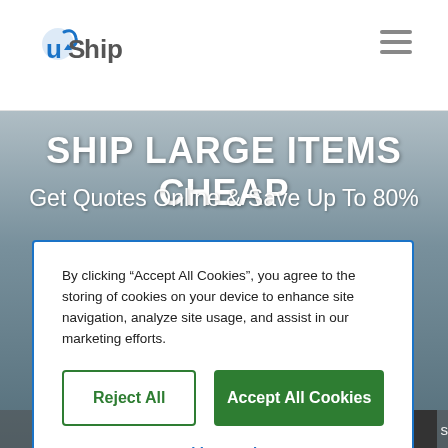uShip
SHIP LARGE ITEMS CHEAP
Get Quotes Online & Save Up To 80%
By clicking “Accept All Cookies”, you agree to the storing of cookies on your device to enhance site navigation, analyze site usage, and assist in our marketing efforts.
Reject All
Accept All Cookies
Cookies Settings
Other Household...s